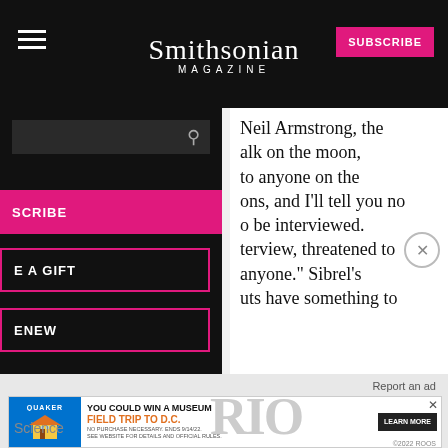Smithsonian MAGAZINE
Neil Armstrong, the alk on the moon, to anyone on the ons, and I'll tell you no o be interviewed. terview, threatened to anyone.” Sibrel's uts have something to
SUBSCRIBE
E A GIFT
ENEW
Report an ad
[Figure (screenshot): Quaker Museum Day ad banner: YOU COULD WIN A MUSEUM FIELD TRIP TO D.C. LEARN MORE]
Science
RIO